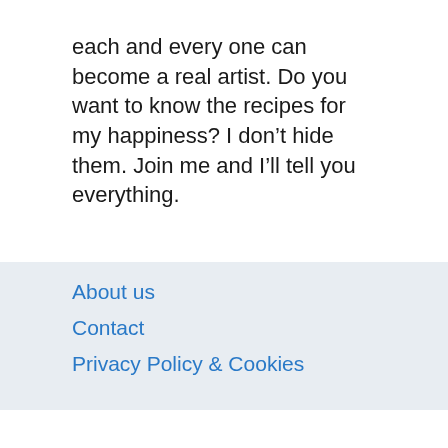each and every one can become a real artist. Do you want to know the recipes for my happiness? I don't hide them. Join me and I'll tell you everything.
About us
Contact
Privacy Policy & Cookies
ATTENTION TO RIGHT HOLDERS! All materials are posted on the site strictly for informational and educational purposes! If you believe that the posting of any material infringes your copyright, be sure to contact us through the contact form and your